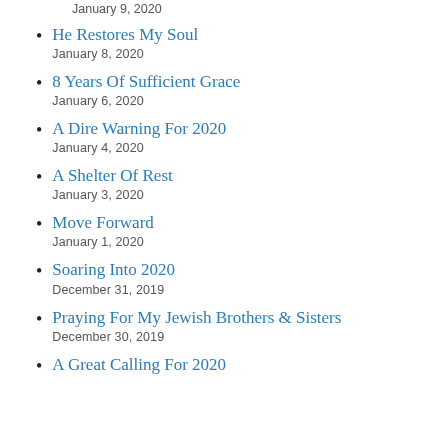January 9, 2020
He Restores My Soul
January 8, 2020
8 Years Of Sufficient Grace
January 6, 2020
A Dire Warning For 2020
January 4, 2020
A Shelter Of Rest
January 3, 2020
Move Forward
January 1, 2020
Soaring Into 2020
December 31, 2019
Praying For My Jewish Brothers & Sisters
December 30, 2019
A Great Calling For 2020